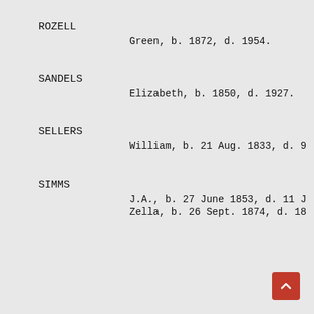ROZELL
Green, b. 1872, d. 1954.
SANDELS
Elizabeth, b. 1850, d. 1927.
SELLERS
William, b. 21 Aug. 1833, d. 9
SIMMS
J.A., b. 27 June 1853, d. 11 J
Zella, b. 26 Sept. 1874, d. 18